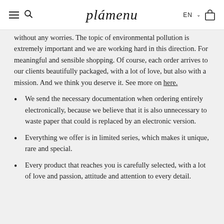≡  🔍  plámenu  EN ∨  🛍
without any worries. The topic of environmental pollution is extremely important and we are working hard in this direction. For meaningful and sensible shopping. Of course, each order arrives to our clients beautifully packaged, with a lot of love, but also with a mission. And we think you deserve it. See more on here.
We send the necessary documentation when ordering entirely electronically, because we believe that it is also unnecessary to waste paper that could is replaced by an electronic version.
Everything we offer is in limited series, which makes it unique, rare and special.
Every product that reaches you is carefully selected, with a lot of love and passion, attitude and attention to every detail.